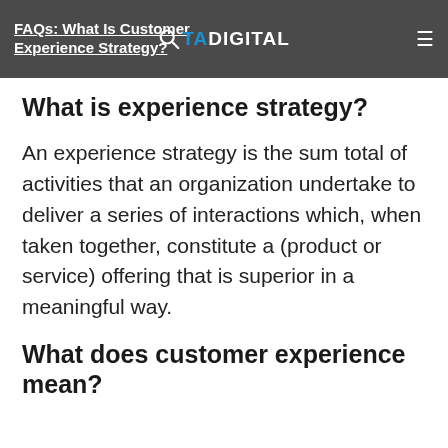FAQs: What Is Customer Experience Strategy?
What is experience strategy?
An experience strategy is the sum total of activities that an organization undertake to deliver a series of interactions which, when taken together, constitute a (product or service) offering that is superior in a meaningful way.
What does customer experience mean?